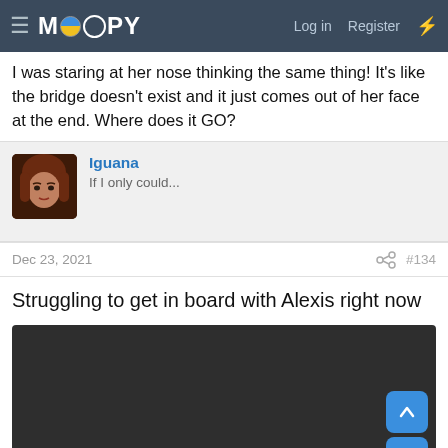MOOPY — Log in   Register
I was staring at her nose thinking the same thing! It's like the bridge doesn't exist and it just comes out of her face at the end. Where does it GO?
Iguana
If I only could...
Dec 23, 2021   #134
Struggling to get in board with Alexis right now
[Figure (screenshot): Dark media player embed area with two teal navigation buttons (up and down arrows) on the right side]